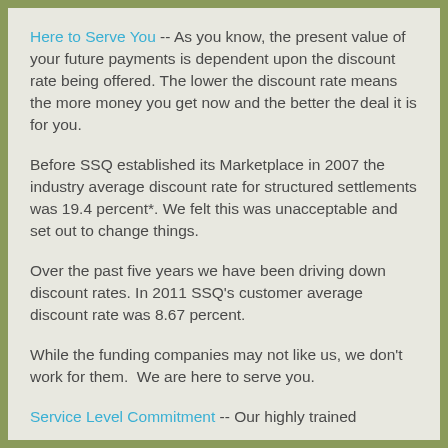Here to Serve You -- As you know, the present value of your future payments is dependent upon the discount rate being offered. The lower the discount rate means the more money you get now and the better the deal it is for you.
Before SSQ established its Marketplace in 2007 the industry average discount rate for structured settlements was 19.4 percent*. We felt this was unacceptable and set out to change things.
Over the past five years we have been driving down discount rates. In 2011 SSQ's customer average discount rate was 8.67 percent.
While the funding companies may not like us, we don't work for them.  We are here to serve you.
Service Level Commitment -- Our highly trained